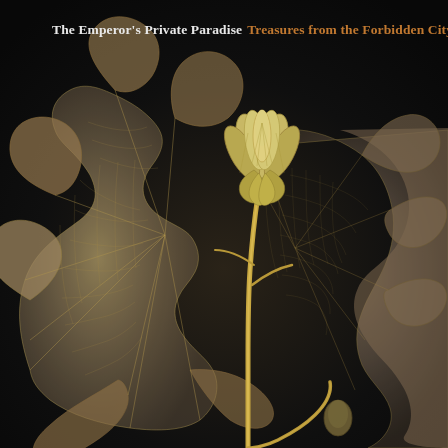The Emperor's Private Paradise Treasures from the Forbidden City
[Figure (illustration): Book cover illustration on black background showing a detailed golden lotus bud on a stem with two large translucent lotus leaves rendered in gold and muted brown tones with visible venation, painted in a classical Chinese botanical style against a deep black background.]